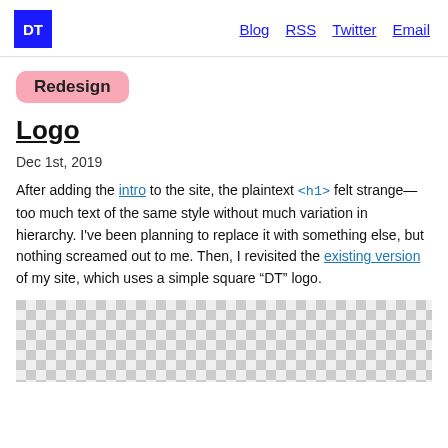DT | Blog  RSS  Twitter  Email
Redesign
Logo
Dec 1st, 2019
After adding the intro to the site, the plaintext <h1> felt strange—too much text of the same style without much variation in hierarchy. I've been planning to replace it with something else, but nothing screamed out to me. Then, I revisited the existing version of my site, which uses a simple square “DT” logo.
[Figure (other): Checkerboard pattern image placeholder (transparent/grey checker)]